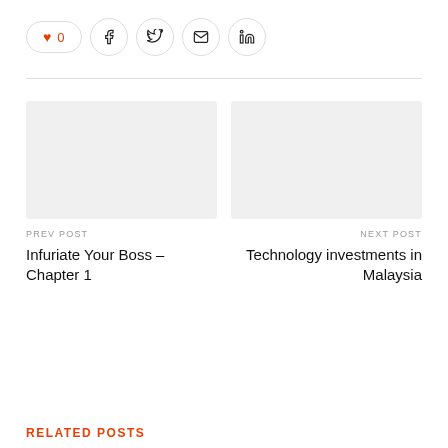[Figure (other): Social sharing bar with heart/like button showing 0, and icons for Facebook, Twitter, email, and LinkedIn]
[Figure (other): Previous post thumbnail image placeholder (light gray rectangle)]
PREV POST
Infuriate Your Boss – Chapter 1
[Figure (other): Next post thumbnail image placeholder (light gray rectangle)]
NEXT POST
Technology investments in Malaysia
RELATED POSTS